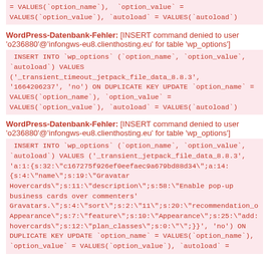= VALUES(`option_name`), `option_value` = VALUES(`option_value`), `autoload` = VALUES(`autoload`)
WordPress-Datenbank-Fehler: [INSERT command denied to user 'o236880'@'infongws-eu8.clienthosting.eu' for table 'wp_options']
INSERT INTO `wp_options` (`option_name`, `option_value`, `autoload`) VALUES ('_transient_timeout_jetpack_file_data_8.8.3', '1664206237', 'no') ON DUPLICATE KEY UPDATE `option_name` = VALUES(`option_name`), `option_value` = VALUES(`option_value`), `autoload` = VALUES(`autoload`)
WordPress-Datenbank-Fehler: [INSERT command denied to user 'o236880'@'infongws-eu8.clienthosting.eu' for table 'wp_options']
INSERT INTO `wp_options` (`option_name`, `option_value`, `autoload`) VALUES ('_transient_jetpack_file_data_8.8.3', 'a:1:{s:32:"c167275f926ef0eefaec9a679bd88d34";a:14:{s:4:"name";s:19:"Gravatar Hovercards";s:11:"description";s:58:"Enable pop-up business cards over commenters' Gravatars.";s:4:"sort";s:2:"11";s:20:"recommendation_order";s:7:"feature";s:10:"Appearance";s:25:"add: hovercards";s:12:"plan_classes";s:0:"";}}', 'no') ON DUPLICATE KEY UPDATE `option_name` = VALUES(`option_name`), `option_value` = VALUES(`option_value`), `autoload` =